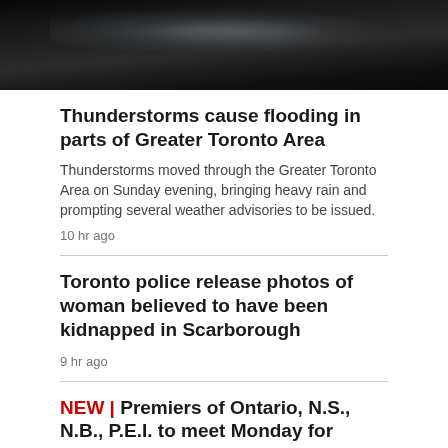[Figure (photo): Dark night-time photo, likely water or trees reflecting light, dark tones with faint shimmer]
Thunderstorms cause flooding in parts of Greater Toronto Area
Thunderstorms moved through the Greater Toronto Area on Sunday evening, bringing heavy rain and prompting several weather advisories to be issued.
10 hr ago
Toronto police release photos of woman believed to have been kidnapped in Scarborough
9 hr ago
NEW | Premiers of Ontario, N.S., N.B., P.E.I. to meet Monday for health-care summit
46 min ago